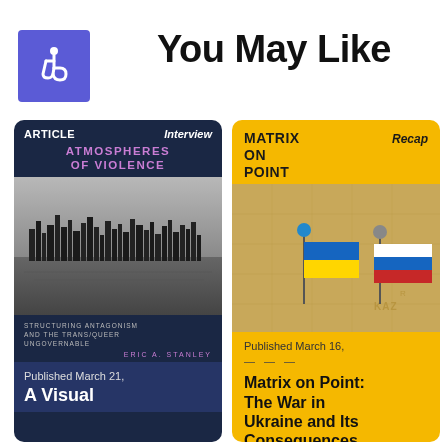[Figure (logo): Accessibility wheelchair icon on purple/indigo background square]
You May Like
[Figure (illustration): Left card: Dark blue card showing an ARTICLE with Interview tag, book cover 'Atmospheres of Violence' with a black-and-white cityscape image, subtitle 'Structuring Antagonism and the Trans/Queer Ungovernable' by Eric A. Stanley. Published March 21. Article title 'A Visual']
[Figure (illustration): Right card: Yellow card showing MATRIX ON POINT with Recap tag, image of Ukraine and Russia flags on map pins. Published March 16. Title: 'Matrix on Point: The War in Ukraine and Its Consequences']